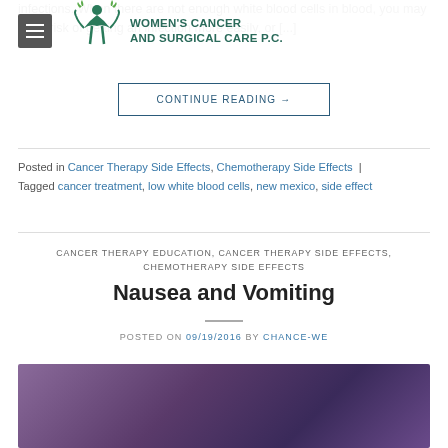infections. When there are not enough white blood cells in blood, you may be at risk of getting an infection more easily, or [...]
Women's Cancer and Surgical Care P.C.
CONTINUE READING →
Posted in Cancer Therapy Side Effects, Chemotherapy Side Effects | Tagged cancer treatment, low white blood cells, new mexico, side effect
CANCER THERAPY EDUCATION, CANCER THERAPY SIDE EFFECTS, CHEMOTHERAPY SIDE EFFECTS
Nausea and Vomiting
POSTED ON 09/19/2016 BY CHANCE-WE
[Figure (photo): Featured image with purple/violet gradient background for Nausea and Vomiting article]